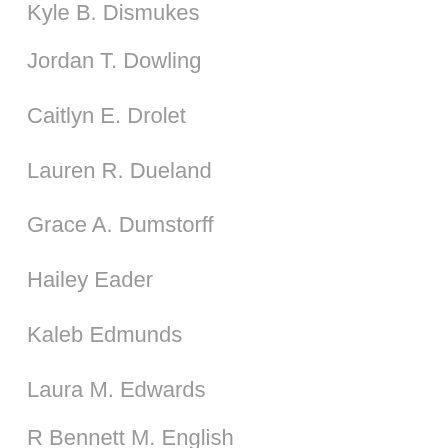Kyle B. Dismukes
Jordan T. Dowling
Caitlyn E. Drolet
Lauren R. Dueland
Grace A. Dumstorff
Hailey Eader
Kaleb Edmunds
Laura M. Edwards
R Bennett M. English